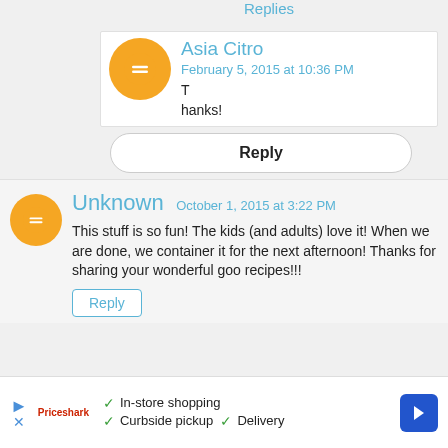Replies
Asia Citro
February 5, 2015 at 10:36 PM
Thanks!
Reply
Unknown  October 1, 2015 at 3:22 PM
This stuff is so fun! The kids (and adults) love it! When we are done, we container it for the next afternoon! Thanks for sharing your wonderful goo recipes!!!
Reply
In-store shopping  Curbside pickup  Delivery